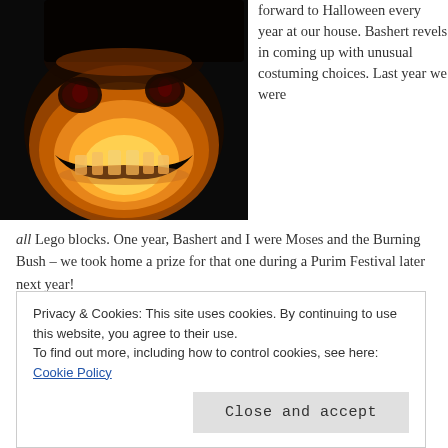[Figure (photo): A carved Halloween jack-o-lantern pumpkin glowing orange from inside against a dark background, showing a grinning face with jagged teeth.]
forward to Halloween every year at our house. Bashert revels in coming up with unusual costuming choices. Last year we were all Lego blocks. One year, Bashert and I were Moses and the Burning Bush – we took home a prize for that one during a Purim Festival later next year!
Privacy & Cookies: This site uses cookies. By continuing to use this website, you agree to their use. To find out more, including how to control cookies, see here: Cookie Policy
Close and accept